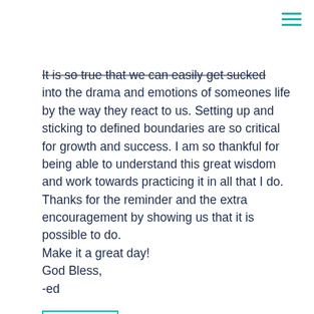It is so true that we can easily get sucked into the drama and emotions of someones life by the way they react to us. Setting up and sticking to defined boundaries are so critical for growth and success. I am so thankful for being able to understand this great wisdom and work towards practicing it in all that I do. Thanks for the reminder and the extra encouragement by showing us that it is possible to do.
Make it a great day!
God Bless,
-ed